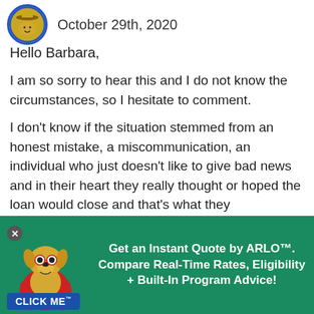October 29th, 2020
Hello Barbara,
I am so sorry to hear this and I do not know the circumstances, so I hesitate to comment.
I don't know if the situation stemmed from an honest mistake, a miscommunication, an individual who just doesn't like to give bad news and in their heart they really thought or hoped the loan would close and that's what they
[Figure (illustration): Animated dog mascot with glasses and red cape, with CLICK ME badge, and promotional banner: Get an Instant Quote by ARLO™. Compare Real-Time Rates, Eligibility + Built-In Program Advice!]